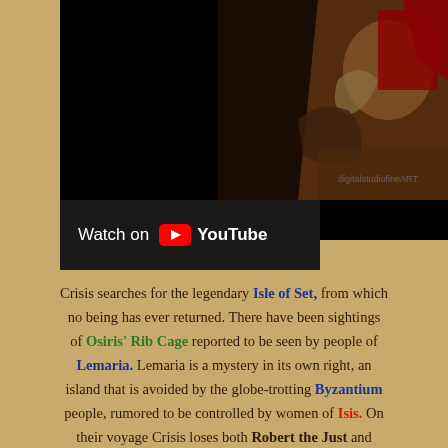[Figure (screenshot): YouTube video embed showing a dark fantasy/historical battle scene artwork on the right half, left half black. Below the video area is a 'Watch on YouTube' bar with YouTube logo.]
Crisis searches for the legendary Isle of Set, from which no being has ever returned. There have been sightings of Osiris' Rib Cage reported to be seen by people of Lemaria. Lemaria is a mystery in its own right, an island that is avoided by the globe-trotting Byzantium people, rumored to be controlled by women of Isis. On their voyage Crisis loses both Robert the Just and original Crisis member Chip.